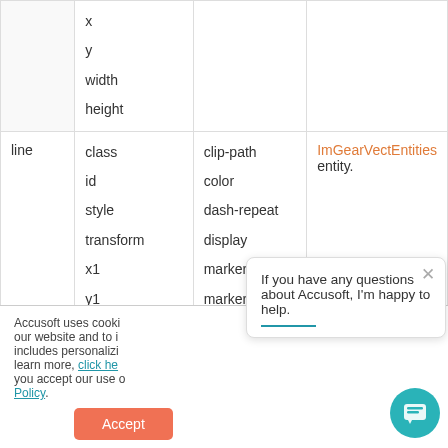| Element | Core Attributes | Styling Attributes | Notes |
| --- | --- | --- | --- |
|  | x
y
width
height |  |  |
| line | class
id
style
transform
x1
y1
x2 | clip-path
color
dash-repeat
display
marker-end
marker-start | ImGearVectEntities entity. |
Accusoft uses cooki our website and to i includes personalizi learn more, click he you accept our use of Policy.
If you have any questions about Accusoft, I'm happy to help.